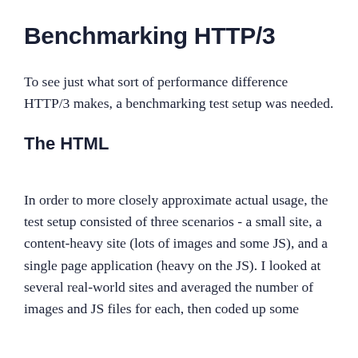Benchmarking HTTP/3
To see just what sort of performance difference HTTP/3 makes, a benchmarking test setup was needed.
The HTML
In order to more closely approximate actual usage, the test setup consisted of three scenarios - a small site, a content-heavy site (lots of images and some JS), and a single page application (heavy on the JS). I looked at several real-world sites and averaged the number of images and JS files for each, then coded up some